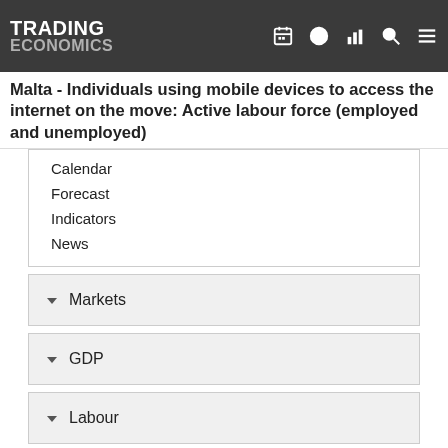TRADING ECONOMICS
Malta - Individuals using mobile devices to access the internet on the move: Active labour force (employed and unemployed)
Calendar
Forecast
Indicators
News
Markets
GDP
Labour
Prices
Health